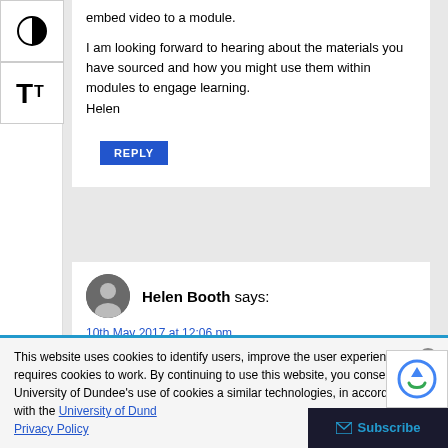embed video to a module.
I am looking forward to hearing about the materials you have sourced and how you might use them within modules to engage learning.
Helen
REPLY
Helen Booth says:
10th May 2017 at 12:06 pm
This website uses cookies to identify users, improve the user experience and requires cookies to work. By continuing to use this website, you consent to University of Dundee's use of cookies and similar technologies, in accordance with the University of Dundee Privacy Policy
Subscribe